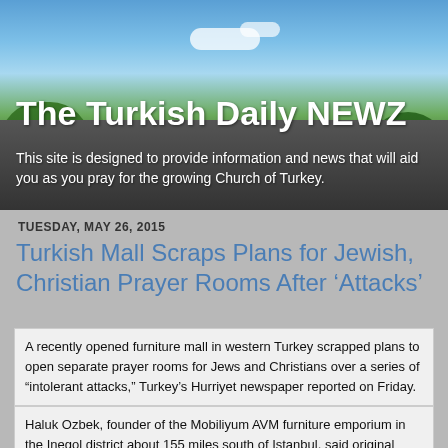[Figure (photo): Banner image showing a road with trees on either side, blue sky with clouds, and overlaid title text for The Turkish Daily NEWZ website]
The Turkish Daily NEWZ
This site is designed to provide information and news that will aid you as you pray for the growing Church of Turkey.
TUESDAY, MAY 26, 2015
Turkish Mall Scraps Plans for Jewish, Christian Prayer Rooms After ‘Attacks’
A recently opened furniture mall in western Turkey scrapped plans to open separate prayer rooms for Jews and Christians over a series of “intolerant attacks,” Turkey’s Hurriyet newspaper reported on Friday.
Haluk Ozbek, founder of the Mobiliyum AVM furniture emporium in the Inegol district about 155 miles south of Istanbul, said original plans sought to make the